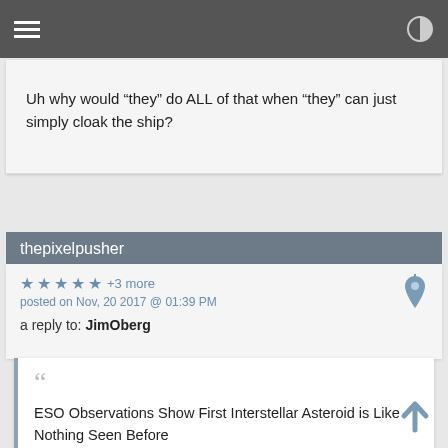Navigation bar with hamburger menu and contrast icon
Uh why would “they” do ALL of that when “they” can just simply cloak the ship?
thepixelpusher
★ ★ ★ ★ ★ +3 more
posted on Nov, 20 2017 @ 01:39 PM
a reply to: JimOberg
ESO Observations Show First Interstellar Asteroid is Like Nothing Seen Before